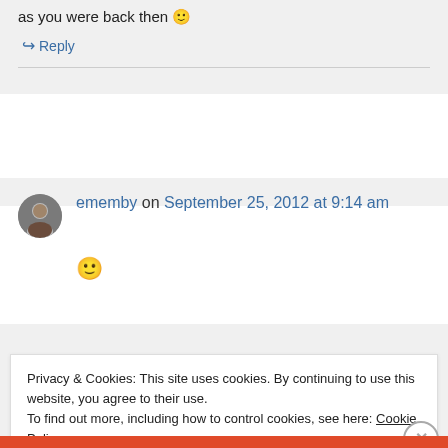as you were back then 🙂
↪ Reply
ememby on September 25, 2012 at 9:14 am
🙂
Privacy & Cookies: This site uses cookies. By continuing to use this website, you agree to their use.
To find out more, including how to control cookies, see here: Cookie Policy
Close and accept